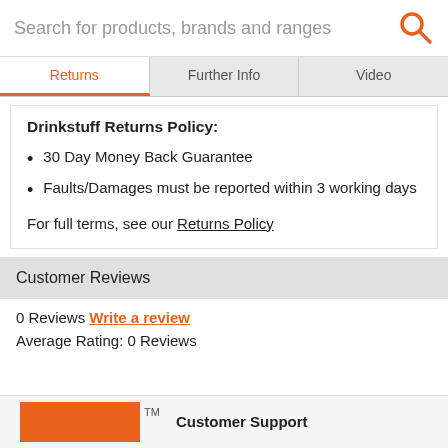Search for products, brands and ranges
Returns | Further Info | Video
Drinkstuff Returns Policy:
30 Day Money Back Guarantee
Faults/Damages must be reported within 3 working days
For full terms, see our Returns Policy
Customer Reviews
0 Reviews Write a review
Average Rating: 0 Reviews
Customer Support